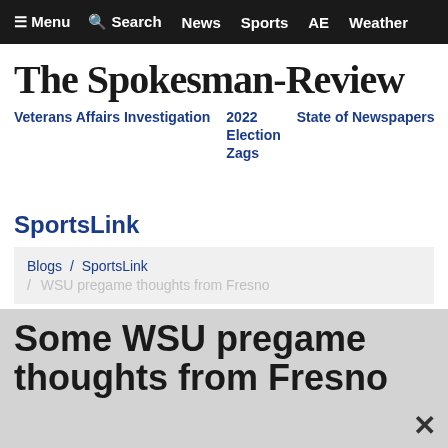≡ Menu   🔍 Search   News   Sports   AE   Weather
The Spokesman-Review
Veterans Affairs Investigation
2022 Election Zags
State of Newspapers
SportsLink
Blogs / SportsLink / WSU pregame thoughts from Fresno
Fri., Nov. 26, 2010
Some WSU pregame thoughts from Fresno